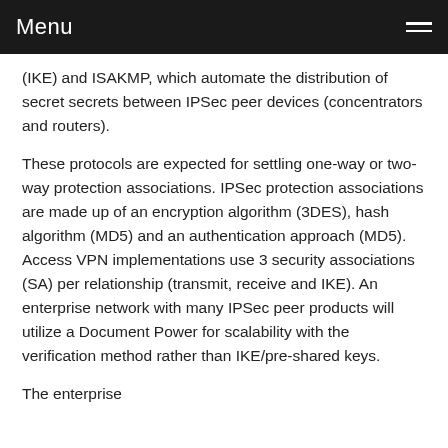Menu
(IKE) and ISAKMP, which automate the distribution of secret secrets between IPSec peer devices (concentrators and routers).
These protocols are expected for settling one-way or two-way protection associations. IPSec protection associations are made up of an encryption algorithm (3DES), hash algorithm (MD5) and an authentication approach (MD5). Access VPN implementations use 3 security associations (SA) per relationship (transmit, receive and IKE). An enterprise network with many IPSec peer products will utilize a Document Power for scalability with the verification method rather than IKE/pre-shared keys.
The enterprise...